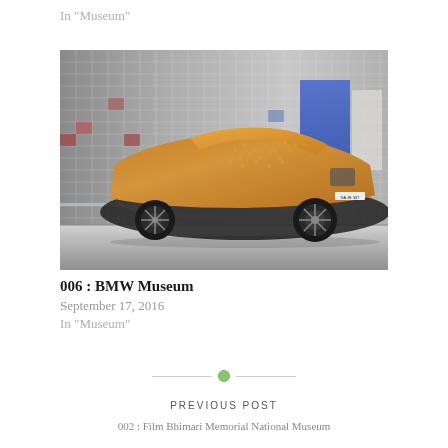In "Museum"
[Figure (photo): A BMW concept car model with orange/golden clay-matte finish displayed in the BMW Museum. The car is shown from the rear three-quarter view, with a tiled mirror wall in the background showing many car photos.]
006 : BMW Museum
September 17, 2016
In "Museum"
PREVIOUS POST
002 : Film Bhimari Memorial National Museum